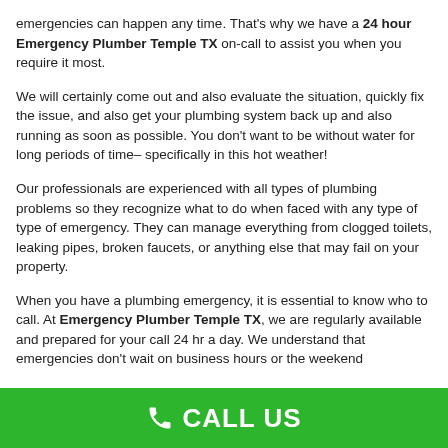emergencies can happen any time. That's why we have a 24 hour Emergency Plumber Temple TX on-call to assist you when you require it most.
We will certainly come out and also evaluate the situation, quickly fix the issue, and also get your plumbing system back up and also running as soon as possible. You don't want to be without water for long periods of time– specifically in this hot weather!
Our professionals are experienced with all types of plumbing problems so they recognize what to do when faced with any type of type of emergency. They can manage everything from clogged toilets, leaking pipes, broken faucets, or anything else that may fail on your property.
When you have a plumbing emergency, it is essential to know who to call. At Emergency Plumber Temple TX, we are regularly available and prepared for your call 24 hr a day. We understand that emergencies don't wait on business hours or the weekend
CALL US